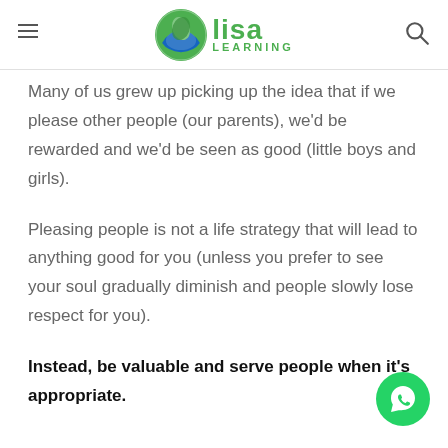Lisa Learning
Many of us grew up picking up the idea that if we please other people (our parents), we'd be rewarded and we'd be seen as good (little boys and girls).
Pleasing people is not a life strategy that will lead to anything good for you (unless you prefer to see your soul gradually diminish and people slowly lose respect for you).
Instead, be valuable and serve people when it's appropriate.